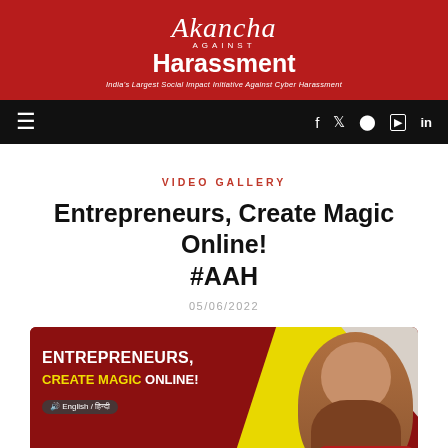Akancha Against Harassment — India's Largest Social Impact Initiative Against Cyber Harassment
VIDEO GALLERY
Entrepreneurs, Create Magic Online! #AAH
05/06/2022
[Figure (photo): Thumbnail image for the video 'Entrepreneurs, Create Magic Online! #AAH' showing a woman on a red background with yellow burst and text overlay. Text reads: ENTREPRENEURS, CREATE MAGIC ONLINE! with English/Hindi language option.]